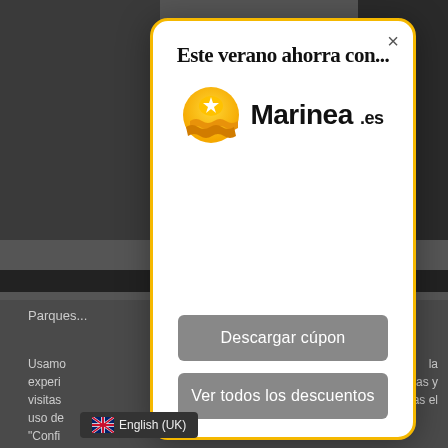[Figure (screenshot): Background webpage screenshot showing a dark website with partial text 'Parques...' and cookie/settings text, with an orange-bordered modal popup overlay]
Este verano ahorra con...
[Figure (logo): Marinea.es logo: orange circle with star and waves, and bold text 'Marinea.es']
Descargar cúpon
Ver todos los descuentos
English (UK)